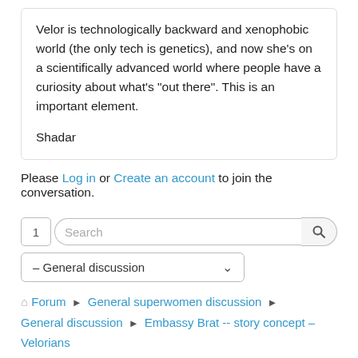Velor is technologically backward and xenophobic world (the only tech is genetics), and now she's on a scientifically advanced world where people have a curiosity about what's "out there". This is an important element.

Shadar
Please Log in or Create an account to join the conversation.
1  Search  – General discussion
Forum › General superwomen discussion › General discussion › Embassy Brat -- story concept – Velorians
[Figure (other): RSS feed icon (orange square with white RSS symbol)]